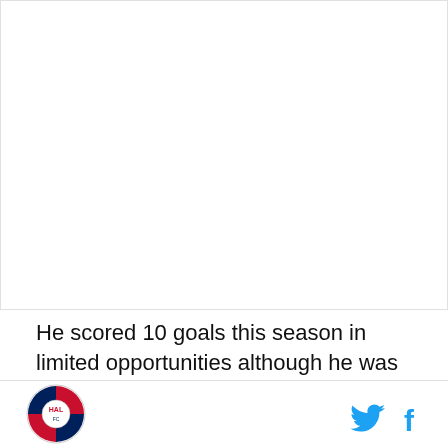[Figure (photo): Large white/empty image area at top of page]
He scored 10 goals this season in limited opportunities although he was considered a more consistent option
[Figure (logo): Sports team logo - circular badge with red, white, blue stripes and text]
[Figure (other): Twitter and Facebook social media icons in cyan/blue]